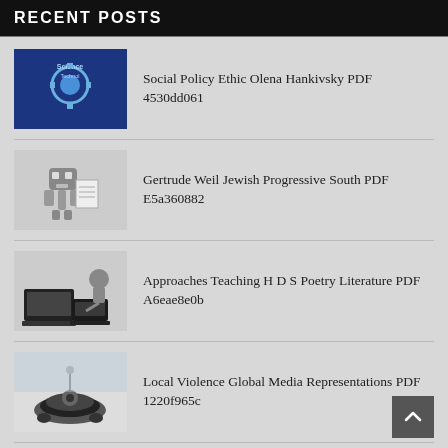RECENT POSTS
Social Policy Ethic Olena Hankivsky PDF 4530dd061
Gertrude Weil Jewish Progressive South PDF E5a360882
Approaches Teaching H D S Poetry Literature PDF A6eae8e0b
Local Violence Global Media Representations PDF 1220f965c
Activists Georgia School Desegregation 1958 1961 PDF 8974f2a26